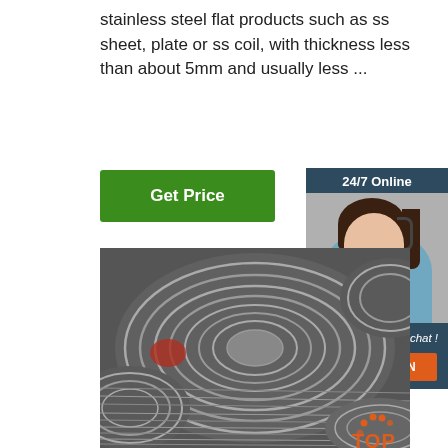stainless steel flat products such as ss sheet, plate or ss coil, with thickness less than about 5mm and usually less ...
[Figure (other): Green 'Get Price' button]
[Figure (other): Sidebar with '24/7 Online' header, customer service representative photo, 'Click here for free chat!' text, and orange QUOTATION button]
[Figure (photo): Photo of large stainless steel wire coils/rolls in a warehouse setting]